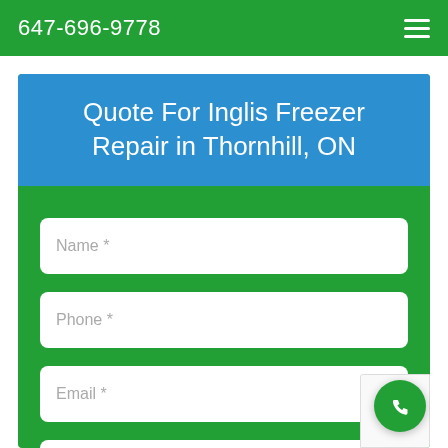647-696-9778
Quote For Inglis Freezer Repair in Thornhill, ON
Name *
Phone *
Email *
Messsage